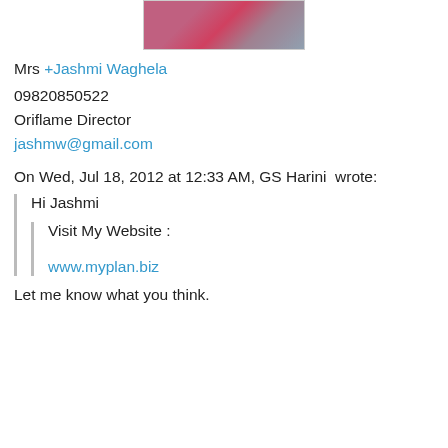[Figure (photo): Partial photo of people, cropped at top of page]
Mrs +Jashmi Waghela
09820850522
Oriflame Director
jashmw@gmail.com
On Wed, Jul 18, 2012 at 12:33 AM, GS Harini  wrote:
Hi Jashmi
Visit My Website :

www.myplan.biz
Let me know what you think.